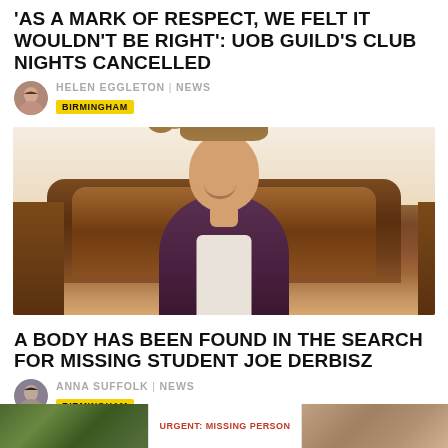'AS A MARK OF RESPECT, WE FELT IT WOULDN'T BE RIGHT': UOB GUILD'S CLUB NIGHTS CANCELLED
HELEN EGGLETON | NEWS
BIRMINGHAM
[Figure (photo): Photo of a smiling young man with curly light brown hair wearing a dark purple open shirt over a white t-shirt, seated in front of a wooden headboard]
A BODY HAS BEEN FOUND IN THE SEARCH FOR MISSING STUDENT JOE DERBISZ
ANNA SUFFOLK | NEWS
BIRMINGHAM
[Figure (photo): Bottom strip with three images: left green nature/outdoors photo, center text reading URGENT: MISSING PERSON, right photo]
URGENT: MISSING PERSON